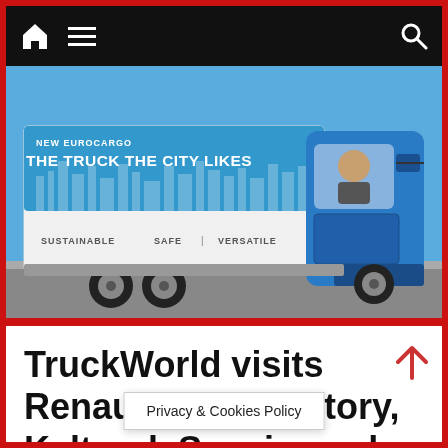Navigation bar with home icon, hamburger menu, and search icon
[Figure (photo): A blue Iveco Eurocargo truck with white box body. Text on the box reads 'NEW EUROCARGO – THE TRUCK THE CITY LIKES' and below 'SUSTAINABLE | SAFE | VERSATILE'. A man is visible in the cab through the windscreen.]
TruckWorld visits Renault Truck factory, Keltruck Scania, and Eurocargo road test Part
Privacy & Cookies Policy